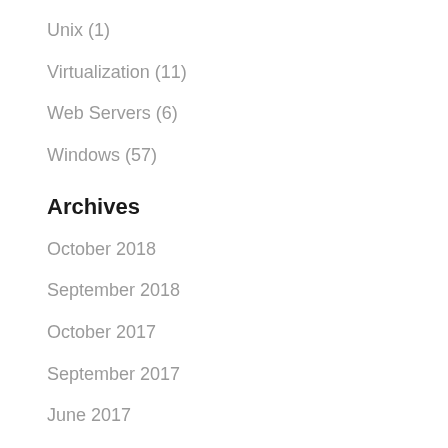Unix (1)
Virtualization (11)
Web Servers (6)
Windows (57)
Archives
October 2018
September 2018
October 2017
September 2017
June 2017
April 2017
February 2017
October 2016
September 2016